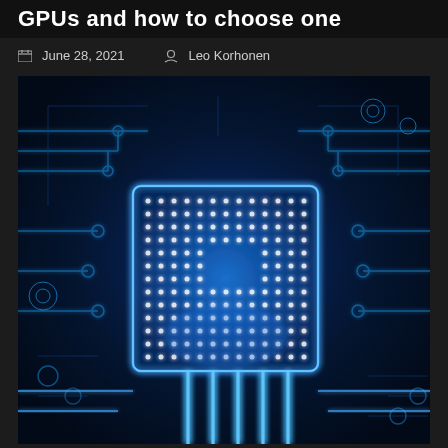GPUs and how to choose one
June 28, 2021   Leo Korhonen
[Figure (photo): A glowing blue digital CPU/GPU chip on a circuit board with illuminated circuit traces and connection points, styled as a futuristic technology illustration]